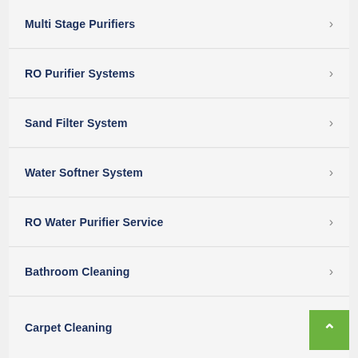Multi Stage Purifiers
RO Purifier Systems
Sand Filter System
Water Softner System
RO Water Purifier Service
Bathroom Cleaning
Carpet Cleaning